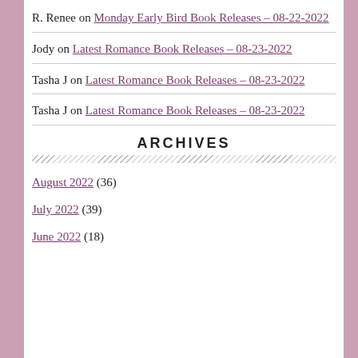R. Renee on Monday Early Bird Book Releases – 08-22-2022
Jody on Latest Romance Book Releases – 08-23-2022
Tasha J on Latest Romance Book Releases – 08-23-2022
Tasha J on Latest Romance Book Releases – 08-23-2022
ARCHIVES
August 2022 (36)
July 2022 (39)
June 2022 (18)